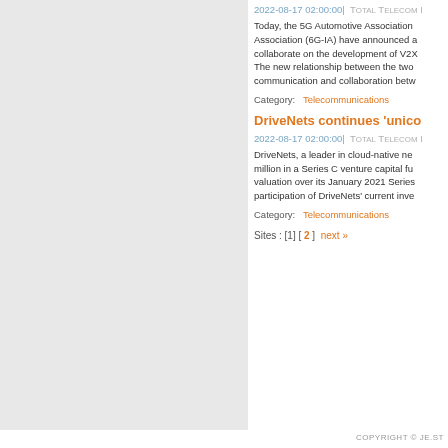2022-08-17 02:00:00| Total Telecom in...
Today, the 5G Automotive Association (5GAA) and the 6G Industry Association (6G-IA) have announced a... collaborate on the development of V2X... The new relationship between the two... communication and collaboration betw...
Category: Telecommunications
DriveNets continues 'unicor...
2022-08-17 02:00:00| Total Telecom in...
DriveNets, a leader in cloud-native ne... million in a Series C venture capital fu... valuation over its January 2021 Series... participation of DriveNets' current inve...
Category: Telecommunications
Sites : [1] [ 2 ] next »
COPYRIGHT © JE.ST